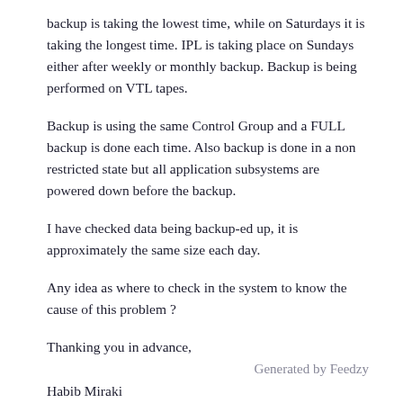backup is taking the lowest time, while on Saturdays it is taking the longest time. IPL is taking place on Sundays either after weekly or monthly backup. Backup is being performed on VTL tapes.
Backup is using the same Control Group and a FULL backup is done each time. Also backup is done in a non restricted state but all application subsystems are powered down before the backup.
I have checked data being backup-ed up, it is approximately the same size each day.
Any idea as where to check in the system to know the cause of this problem ?
Thanking you in advance,
Generated by Feedzy
Habib Miraki